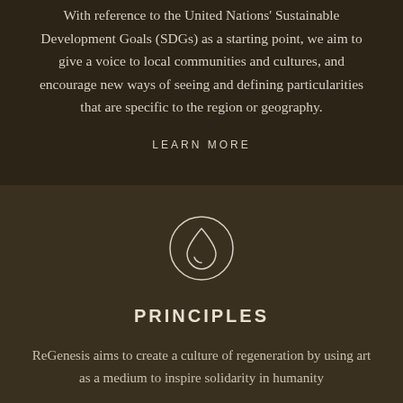With reference to the United Nations' Sustainable Development Goals (SDGs) as a starting point, we aim to give a voice to local communities and cultures, and encourage new ways of seeing and defining particularities that are specific to the region or geography.
LEARN MORE
[Figure (illustration): A circular icon with a water drop symbol inside, outlined in white on a dark brown background.]
PRINCIPLES
ReGenesis aims to create a culture of regeneration by using art as a medium to inspire solidarity in humanity